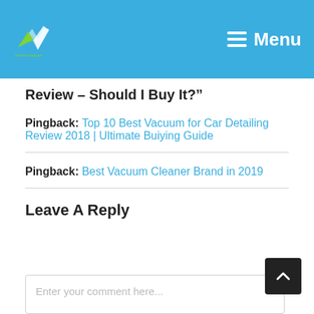Menu
Review – Should I Buy It?"
Pingback: Top 10 Best Vacuum for Car Detailing Review 2018 | Ultimate Buiying Guide
Pingback: Best Vacuum Cleaner Brand in 2019
Leave A Reply
Enter your comment here...